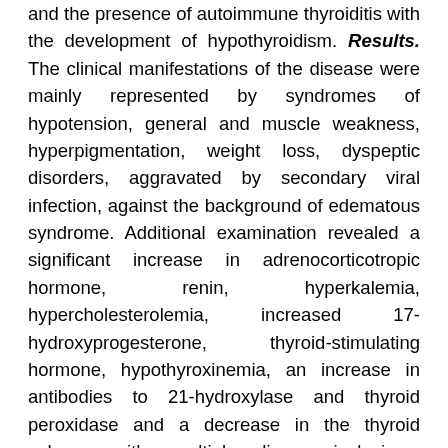and the presence of autoimmune thyroiditis with the development of hypothyroidism. Results. The clinical manifestations of the disease were mainly represented by syndromes of hypotension, general and muscle weakness, hyperpigmentation, weight loss, dyspeptic disorders, aggravated by secondary viral infection, against the background of edematous syndrome. Additional examination revealed a significant increase in adrenocorticotropic hormone, renin, hyperkalemia, hypercholesterolemia, increased 17-hydroxyprogesterone, thyroid-stimulating hormone, hypothyroxinemia, an increase in antibodies to 21-hydroxylase and thyroid peroxidase and a decrease in the thyroid volume with multiple linear inclusions, increased echogenicity. The analysis of the identified hormonal, metabolic and pathomorphological changes made it possible to establish the presence of Schmidt's syndrome in this clinical case. The treatment with glucocorticoids was accompanied by adverse reactions, which led to repeated replacement of